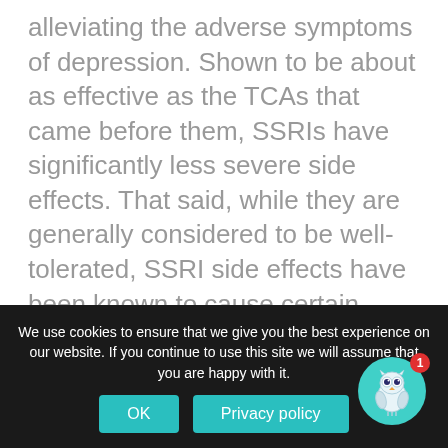alleviating the adverse symptoms of depression. Shown to be about as effective as the TCAs that came before them, SSRIs have significantly less severe side effects. That said, while they are generally considered to be well-tolerated, SSRI side effects have been known to cause certain patients to discontinue treatment. Weight gain and sexual dysfunction are among their more commonly cited side effects of this class of medications. Prozac is the most well-known SSRI available.
We use cookies to ensure that we give you the best experience on our website. If you continue to use this site we will assume that you are happy with it.